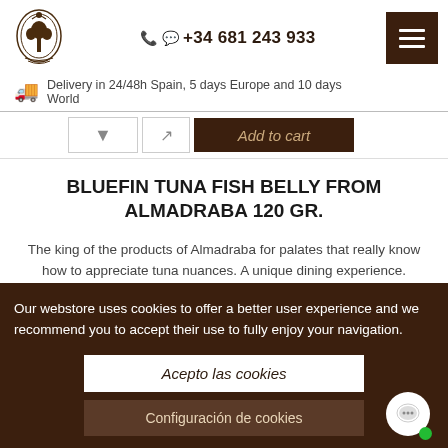[Figure (logo): Decorative ornamental tree/crest logo in dark brown]
☎ © +34 681 243 933
[Figure (other): Dark brown hamburger menu button with three white lines]
Delivery in 24/48h Spain, 5 days Europe and 10 days World
Add to cart
BLUEFIN TUNA FISH BELLY FROM ALMADRABA 120 GR.
The king of the products of Almadraba for palates that really know how to appreciate tuna nuances. A unique dining experience.
14,50 €
Our webstore uses cookies to offer a better user experience and we recommend you to accept their use to fully enjoy your navigation.
Acepto las cookies
Configuración de cookies